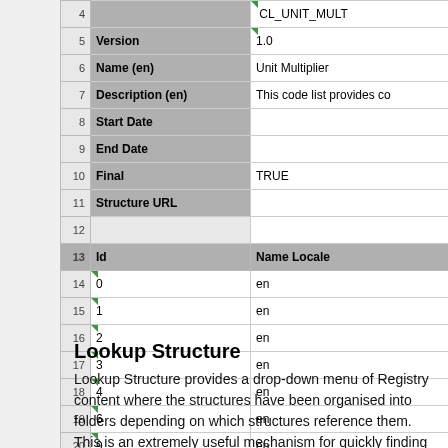| # | Field | Value |
| --- | --- | --- |
| 5 | Version | 1.0 |
| 6 | Name (en) | Unit Multiplier |
| 7 | Description (en) | This code list provides co… |
| 8 | Start Date |  |
| 9 | End Date |  |
| 10 | Final | TRUE |
| 11 | Structure URL |  |
| 12 |  |  |
| 13 | Id | Name Locale |
| 14 | 0 | en |
| 15 | 1 | en |
| 16 | 2 | en |
| 17 | 3 | en |
| 18 | 4 | en |
| 19 | 6 | en |
| 20 | 9 | en |
| 21 | 12 | en |
| 22 | 15 | en |
| 23 | … |  |
Lookup Structure
Lookup Structure provides a drop-down menu of Registry content where the structures have been organised into folders depending on which structures reference them. This is an extremely useful mechanism for quickly finding the